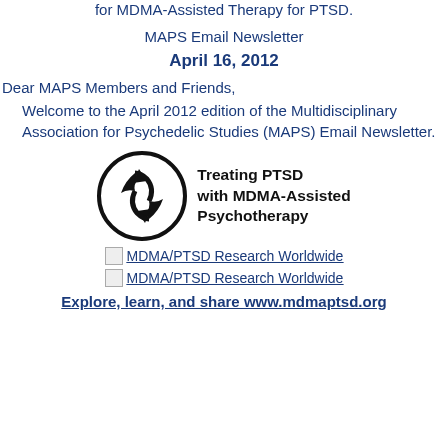for MDMA-Assisted Therapy for PTSD.
MAPS Email Newsletter
April 16, 2012
Dear MAPS Members and Friends,
Welcome to the April 2012 edition of the Multidisciplinary Association for Psychedelic Studies (MAPS) Email Newsletter.
[Figure (logo): Treating PTSD with MDMA-Assisted Psychotherapy logo: circular icon with two hands forming a recycling-like symbol, with bold text to the right reading 'Treating PTSD with MDMA-Assisted Psychotherapy']
MDMA/PTSD Research Worldwide
MDMA/PTSD Research Worldwide
Explore, learn, and share www.mdmaptsd.org